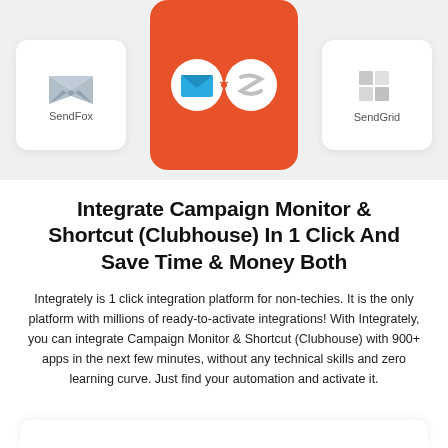[Figure (illustration): Integration graphic showing Campaign Monitor and Shortcut (Clubhouse) logos connected, flanked by SendFox and SendGrid app cards on a light gray background]
Integrate Campaign Monitor & Shortcut (Clubhouse) In 1 Click And Save Time & Money Both
Integrately is 1 click integration platform for non-techies. It is the only platform with millions of ready-to-activate integrations! With Integrately, you can integrate Campaign Monitor & Shortcut (Clubhouse) with 900+ apps in the next few minutes, without any technical skills and zero learning curve. Just find your automation and activate it.